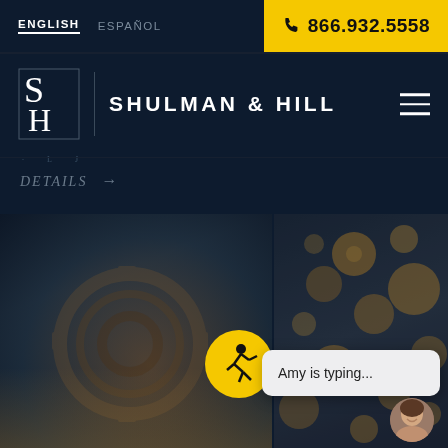ENGLISH   ESPAÑOL   866.932.5558
[Figure (logo): Shulman & Hill law firm logo with S/H monogram and firm name]
DETAILS →
[Figure (photo): Hero image composite: industrial/tools scene on left, bokeh light bokeh on right, with yellow slip-and-fall icon and chat bubble showing Amy is typing...]